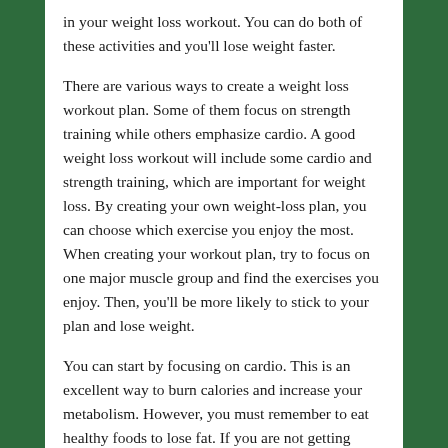in your weight loss workout. You can do both of these activities and you'll lose weight faster.
There are various ways to create a weight loss workout plan. Some of them focus on strength training while others emphasize cardio. A good weight loss workout will include some cardio and strength training, which are important for weight loss. By creating your own weight-loss plan, you can choose which exercise you enjoy the most. When creating your workout plan, try to focus on one major muscle group and find the exercises you enjoy. Then, you'll be more likely to stick to your plan and lose weight.
You can start by focusing on cardio. This is an excellent way to burn calories and increase your metabolism. However, you must remember to eat healthy foods to lose fat. If you are not getting enough calories, you can eat more food. A moderate diet can also help you lose weight. When you're working out, you should add a 10-